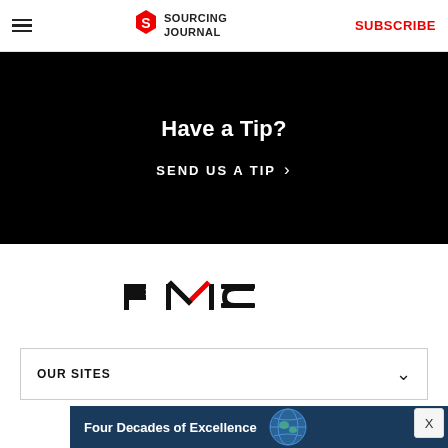Sourcing Journal — SUBSCRIBE
Have a Tip?
SEND US A TIP >
[Figure (logo): PMC logo in black with red accent on the M]
OUR SITES
Copyright © 2022 Penske Business Media, LLC. All Rights reserved. Powered by WordPress.com VIP
[Figure (infographic): Advertisement banner: Four Decades of Excellence with globe graphic]